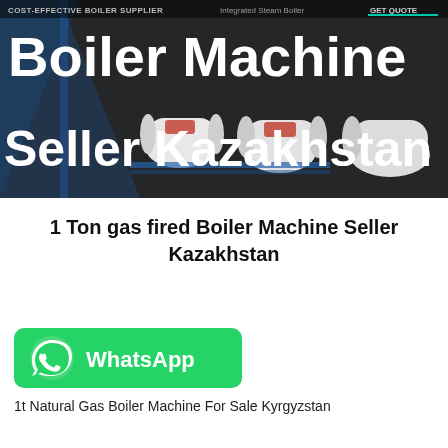[Figure (photo): Dark-themed hero banner showing industrial boiler machines (white cylindrical steam boilers with red markings) in a 3D rendered industrial setting. Bold white text reads 'Boiler Machine Seller Kazakhstan'. Top bar shows 'COST-EFFECTIVE BOILER SUPPLIER Integrated Steam Boiler' and a 'GET QUOTE' button with teal underline.]
1 Ton gas fired Boiler Machine Seller Kazakhstan
[Figure (logo): Green WhatsApp button with white phone/speech-bubble WhatsApp logo icon on the left and bold white text 'WhatsApp' on the right]
1t Natural Gas Boiler Machine For Sale Kyrgyzstan